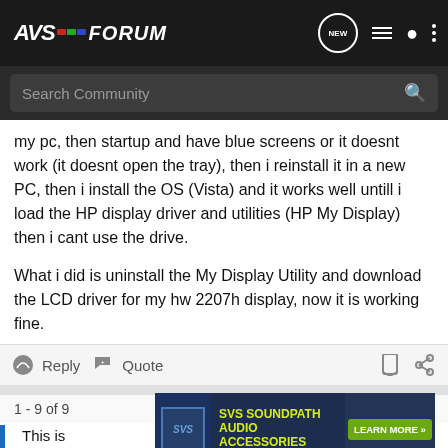AVS FORUM
my pc, then startup and have blue screens or it doesnt work (it doesnt open the tray), then i reinstall it in a new PC, then i install the OS (Vista) and it works well untill i load the HP display driver and utilities (HP My Display) then i cant use the drive.
What i did is uninstall the My Display Utility and download the LCD driver for my hw 2207h display, now it is working fine.
Reply   Quote
1 - 9 of 9
This is
[Figure (screenshot): SVS SoundPath Audio Accessories advertisement banner with Learn More button]